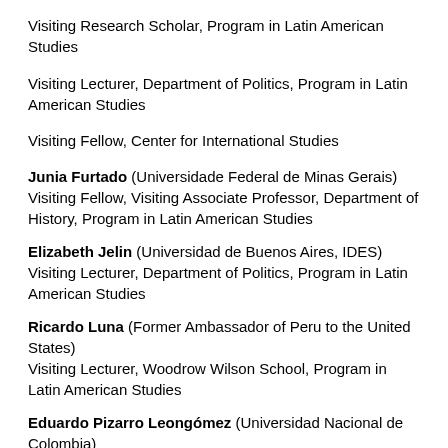Visiting Research Scholar, Program in Latin American Studies
Visiting Lecturer, Department of Politics, Program in Latin American Studies
Visiting Fellow, Center for International Studies
Junia Furtado (Universidade Federal de Minas Gerais)
Visiting Fellow, Visiting Associate Professor, Department of History, Program in Latin American Studies
Elizabeth Jelin (Universidad de Buenos Aires, IDES)
Visiting Lecturer, Department of Politics, Program in Latin American Studies
Ricardo Luna (Former Ambassador of Peru to the United States)
Visiting Lecturer, Woodrow Wilson School, Program in Latin American Studies
Eduardo Pizarro Leongómez (Universidad Nacional de Colombia)